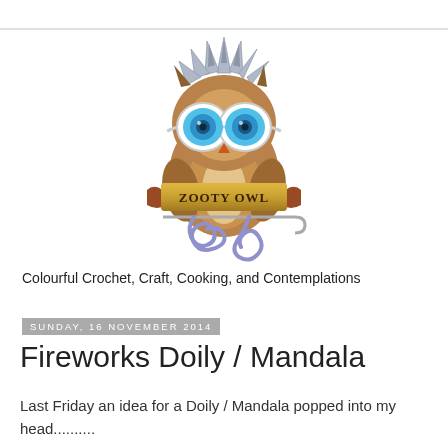[Figure (logo): Zooty Owl logo: a cartoon owl wearing large blue round glasses with silver frames, spiky grey feathers on head, brown body, holding a crochet hook with a blue yarn chain. A brown ribbon banner across the middle reads 'ZOOTY OWL' in dark text.]
Colourful Crochet, Craft, Cooking, and Contemplations
Sunday, 16 November 2014
Fireworks Doily / Mandala
Last Friday an idea for a Doily / Mandala popped into my head..........